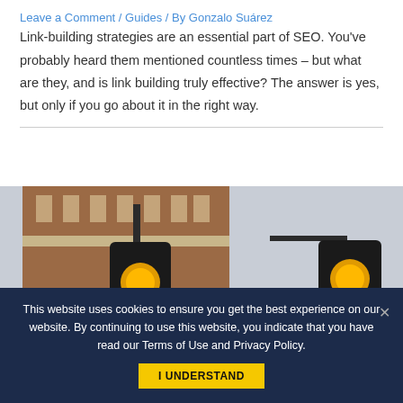Leave a Comment / Guides / By Gonzalo Suárez
Link-building strategies are an essential part of SEO. You've probably heard them mentioned countless times – but what are they, and is link building truly effective? The answer is yes, but only if you go about it in the right way.
[Figure (photo): Street photo showing two yellow traffic lights and a blue sign reading 'E-COMMERCE' in front of a brick building with ornate architecture.]
This website uses cookies to ensure you get the best experience on our website. By continuing to use this website, you indicate that you have read our Terms of Use and Privacy Policy.
I UNDERSTAND